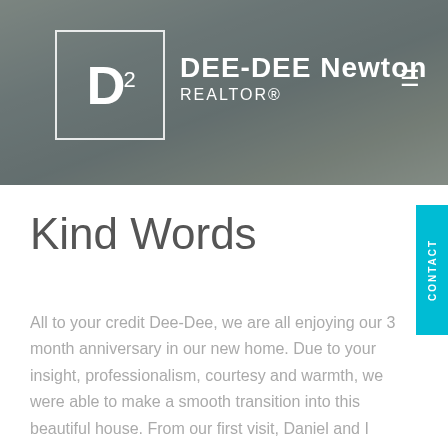[Figure (screenshot): Real estate website header with kitchen/living room background photo, D-squared logo in white outlined square, DEE-DEE Newton REALTOR® brand name in white text, hamburger menu icon]
Kind Words
All to your credit Dee-Dee, we are all enjoying our 3 month anniversary in our new home. Due to your insight, professionalism, courtesy and warmth, we were able to make a smooth transition into this beautiful house. From our first visit, Daniel and I